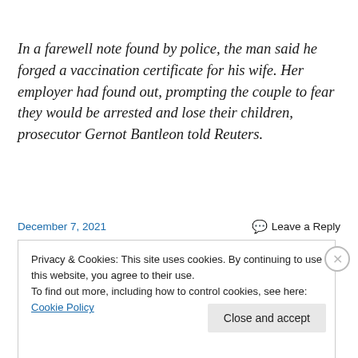In a farewell note found by police, the man said he forged a vaccination certificate for his wife. Her employer had found out, prompting the couple to fear they would be arrested and lose their children, prosecutor Gernot Bantleon told Reuters.
December 7, 2021
Leave a Reply
Privacy & Cookies: This site uses cookies. By continuing to use this website, you agree to their use.
To find out more, including how to control cookies, see here: Cookie Policy
Close and accept